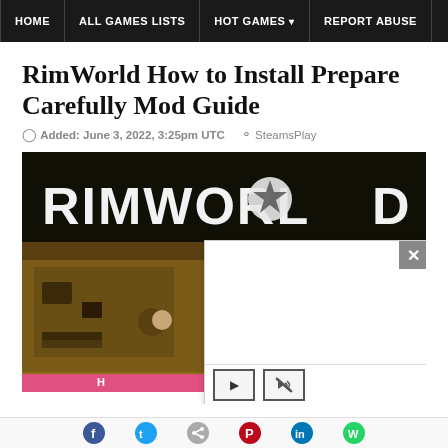HOME | ALL GAMES LISTS | HOT GAMES | REPORT ABUSE
RimWorld How to Install Prepare Carefully Mod Guide
Added: June 3, 2022, 3:25pm UTC   SteamsPlay
[Figure (screenshot): RimWorld game screenshot showing the game title logo at top and gameplay scene below, partially covered by a video popup overlay with play and mute controls and a close button.]